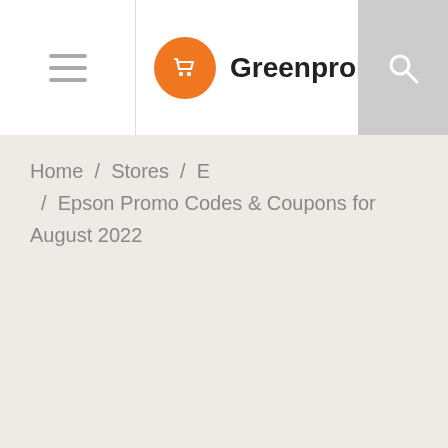[Figure (logo): Greenpromocode.com website header with hamburger menu, orange shopping cart logo, site name, and search icon]
Home / Stores / E / Epson Promo Codes & Coupons for August 2022